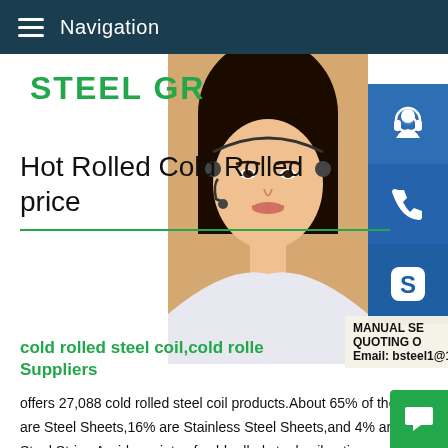Navigation
[Figure (photo): Customer service representative woman with headset, company logo overlay reading STEEL GR (truncated), side panel with contact icons (headset, phone, Skype)]
Hot Rolled Cold Rolled price
MANUAL SE QUOTING O Email: bsteel1@163.com
cold rolled steel coil,cold rolle Suppliers
offers 27,088 cold rolled steel coil products.About 65% of these are Steel Sheets,16% are Stainless Steel Sheets,and 4% are Steel Strips.A wide variety of cold rolled steel coil options are available to you,such as application,special use.cold rolled steel coil price, rolled steel coil price offers 9,280 cold rolled steel coil price